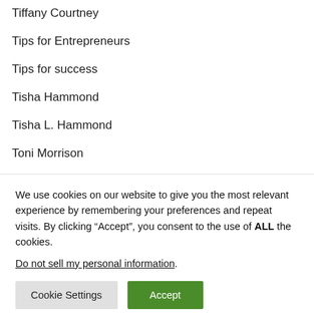Tiffany Courtney
Tips for Entrepreneurs
Tips for success
Tisha Hammond
Tisha L. Hammond
Toni Morrison
Top 50
We use cookies on our website to give you the most relevant experience by remembering your preferences and repeat visits. By clicking “Accept”, you consent to the use of ALL the cookies.
Do not sell my personal information.